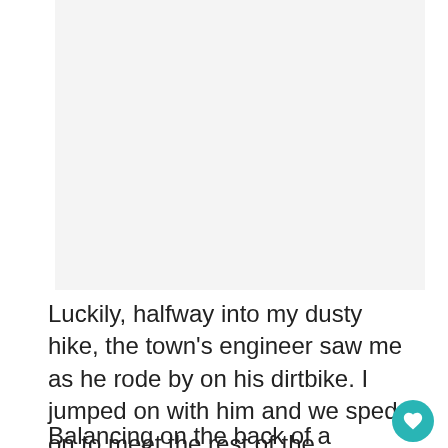[Figure (photo): Light gray rectangular placeholder image area at the top of the page]
Luckily, halfway into my dusty hike, the town's engineer saw me as he rode by on his dirtbike. I jumped on with him and we sped on to meet the rest of the volunteers who had already begun working.
Balancing on the back of a small dirtbike over